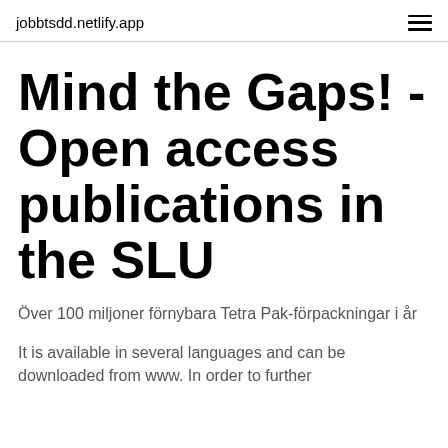jobbtsdd.netlify.app
Mind the Gaps! - Open access publications in the SLU
Över 100 miljoner förnybara Tetra Pak-förpackningar i år
It is available in several languages and can be downloaded from www. In order to further